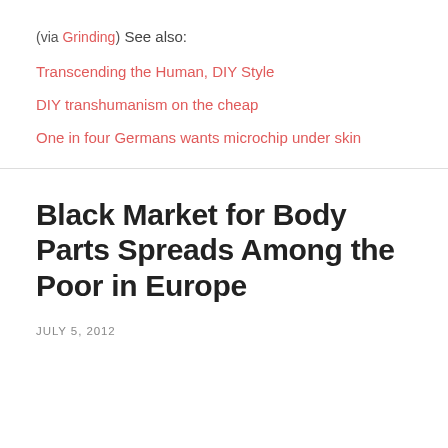(via Grinding)
See also:
Transcending the Human, DIY Style
DIY transhumanism on the cheap
One in four Germans wants microchip under skin
Black Market for Body Parts Spreads Among the Poor in Europe
JULY 5, 2012